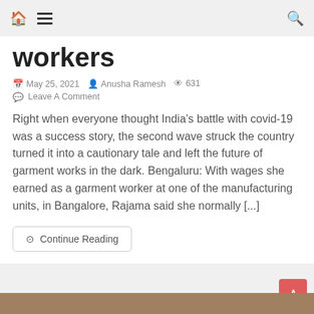🏠 ☰ 🔍
workers
May 25, 2021   Anusha Ramesh   631   Leave A Comment
Right when everyone thought India's battle with covid-19 was a success story, the second wave struck the country turned it into a cautionary tale and left the future of garment works in the dark. Bengaluru: With wages she earned as a garment worker at one of the manufacturing units, in Bangalore, Rajama said she normally [...]
Continue Reading